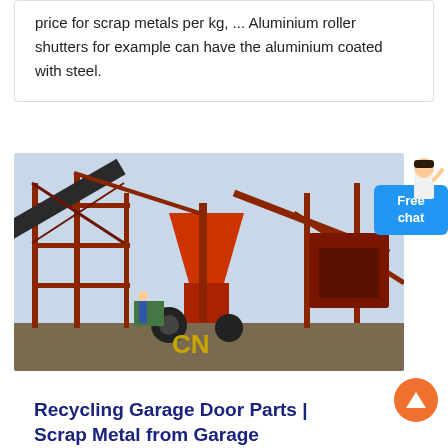price for scrap metals per kg, ... Aluminium roller shutters for example can have the aluminium coated with steel.
[Figure (photo): Industrial metal recycling machinery with red steel framework, conveyor belts, and processing equipment. Yellow 'CN' logo watermark visible at bottom center.]
Recycling Garage Door Parts | Scrap Metal from Garage